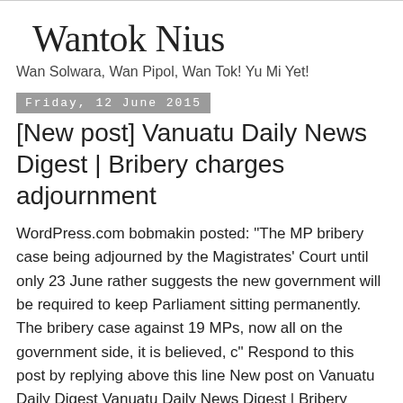Wantok Nius
Wan Solwara, Wan Pipol, Wan Tok! Yu Mi Yet!
Friday, 12 June 2015
[New post] Vanuatu Daily News Digest | Bribery charges adjournment
WordPress.com bobmakin posted: "The MP bribery case being adjourned by the Magistrates' Court until only 23 June rather suggests the new government will be required to keep Parliament sitting permanently. The bribery case against 19 MPs, now all on the government side, it is believed, c" Respond to this post by replying above this line New post on Vanuatu Daily Digest Vanuatu Daily News Digest | Bribery charges adjournment by bobmakin The MP bribery case being adjourned by the Magistrates' Court until only 23 June rather suggests the new government will be required to keep Parliament sitting permanently. The bribery case against 19